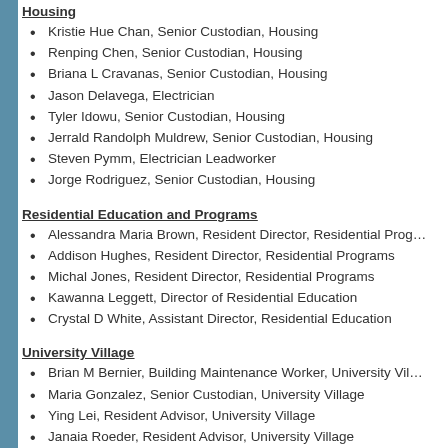Housing
Kristie Hue Chan, Senior Custodian, Housing
Renping Chen, Senior Custodian, Housing
Briana L Cravanas, Senior Custodian, Housing
Jason Delavega, Electrician
Tyler Idowu, Senior Custodian, Housing
Jerrald Randolph Muldrew, Senior Custodian, Housing
Steven Pymm, Electrician Leadworker
Jorge Rodriguez, Senior Custodian, Housing
Residential Education and Programs
Alessandra Maria Brown, Resident Director, Residential Programs
Addison Hughes, Resident Director, Residential Programs
Michal Jones, Resident Director, Residential Programs
Kawanna Leggett, Director of Residential Education
Crystal D White, Assistant Director, Residential Education
University Village
Brian M Bernier, Building Maintenance Worker, University Village
Maria Gonzalez, Senior Custodian, University Village
Ying Lei, Resident Advisor, University Village
Janaia Roeder, Resident Advisor, University Village
Kyle David Shiluk, Rec Program Instructor Generalist, University Village
Laura Uribe, Senior Custodian, University Village
We're glad to have you on board.